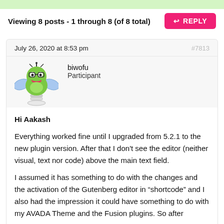Viewing 8 posts - 1 through 8 (of 8 total)
REPLY
July 26, 2020 at 8:53 pm
#7813
[Figure (illustration): Cartoon avatar of a green frog-like character with wings and a spring base]
biwofu
Participant
Hi Aakash
Everything worked fine until I upgraded from 5.2.1 to the new plugin version. After that I don't see the editor (neither visual, text nor code) above the main text field.
I assumed it has something to do with the changes and the activation of the Gutenberg editor in “shortcode” and I also had the impression it could have something to do with my AVADA Theme and the Fusion plugins. So after